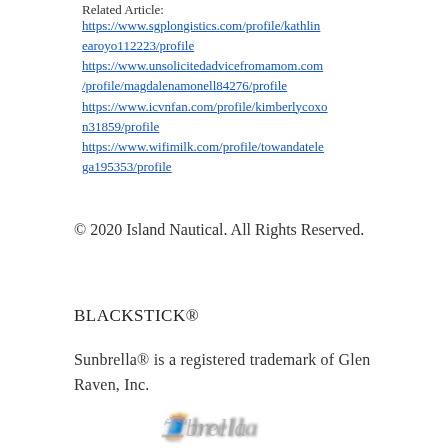Related Article:
https://www.sgplongistics.com/profile/kathlinearoyo112223/profile
https://www.unsolicitedadvicefromamom.com/profile/magdalenamonell84276/profile
https://www.icvnfan.com/profile/kimberlycoxon31859/profile
https://www.wifimilk.com/profile/towandatelega195353/profile
© 2020 Island Nautical. All Rights Reserved.
BLACKSTICK®
Sunbrella® is a registered trademark of Glen Raven, Inc.
[Figure (logo): Sunbrella brand logo in gray, partially blurred]